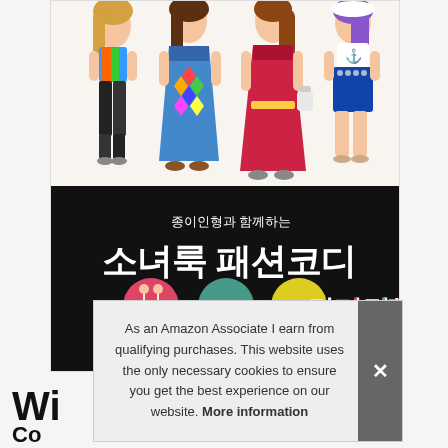[Figure (illustration): Korean fashion coloring book cover titled '소녀룩 패션코디 컬러링북' with 종이인형과 함께하는 subtitle. Shows four illustrated fashion girls in different outfits on a black background with decorative elements.]
As an Amazon Associate I earn from qualifying purchases. This website uses the only necessary cookies to ensure you get the best experience on our website. More information
Wi
Со